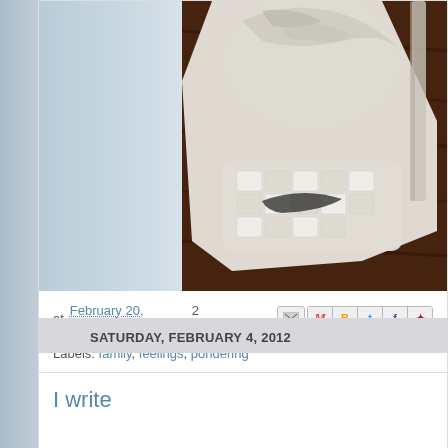[Figure (photo): Photo of white Nike sneaker with laces on a dark wooden surface, with a blurred blue/green background on the left]
at February 20, 2012   2 comments:
Labels: family, feelings, pondering
SATURDAY, FEBRUARY 4, 2012
I write